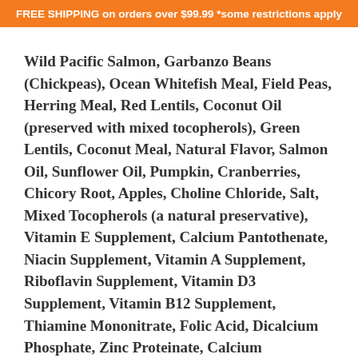FREE SHIPPING on orders over $99.99 *some restrictions apply
Wild Pacific Salmon, Garbanzo Beans (Chickpeas), Ocean Whitefish Meal, Field Peas, Herring Meal, Red Lentils, Coconut Oil (preserved with mixed tocopherols), Green Lentils, Coconut Meal, Natural Flavor, Salmon Oil, Sunflower Oil, Pumpkin, Cranberries, Chicory Root, Apples, Choline Chloride, Salt, Mixed Tocopherols (a natural preservative), Vitamin E Supplement, Calcium Pantothenate, Niacin Supplement, Vitamin A Supplement, Riboflavin Supplement, Vitamin D3 Supplement, Vitamin B12 Supplement, Thiamine Mononitrate, Folic Acid, Dicalcium Phosphate, Zinc Proteinate, Calcium Carbonate, Iron Proteinate, Copper Proteinate, Manganese Proteinate, Selenium Yeast, Calcium Iodate, Rosemary Extract, Taurine, Cinnamon, Turmeric